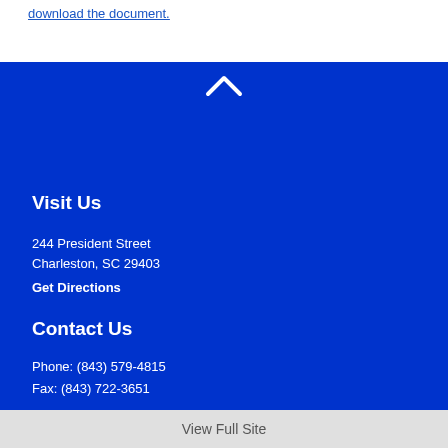download the document.
Visit Us
244 President Street
Charleston, SC 29403
Get Directions
Contact Us
Phone: (843) 579-4815
Fax: (843) 722-3651
View Full Site